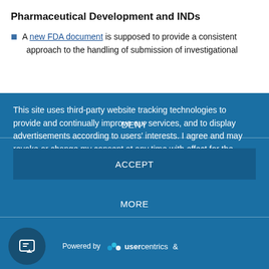Pharmaceutical Development and INDs
A new FDA document is supposed to provide a consistent approach to the handling of submission of investigational…
This site uses third-party website tracking technologies to provide and continually improve our services, and to display advertisements according to users' interests. I agree and may revoke or change my consent at any time with effect for the future.
DENY
ACCEPT
MORE
Powered by usercentrics &